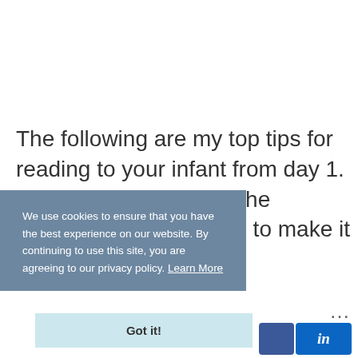The following are my top tips for reading to your infant from day 1. Don't get caught up in the …ng is to make it
We use cookies to ensure that you have the best experience on our website. By continuing to use this site, you are agreeing to our privacy policy. Learn More
Got it!